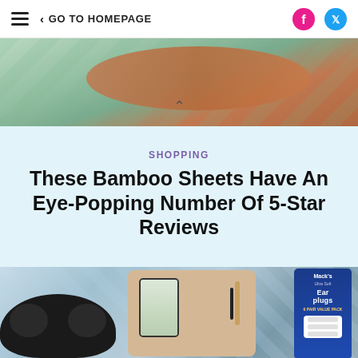≡  < GO TO HOMEPAGE  [Facebook] [Twitter]
[Figure (photo): Partial view of bamboo sheet product image showing rolled terracotta/brown fabric on a green bamboo-style background]
∧
SHOPPING
These Bamboo Sheets Have An Eye-Popping Number Of 5-Star Reviews
[Figure (photo): Collage of sleep and relaxation products: a black 3D contour sleep mask, a tan/beige desk organizer pad with a phone and pencil, and a blue Mack's Earplugs 6-pair value pack box, on a blue water/ice background]